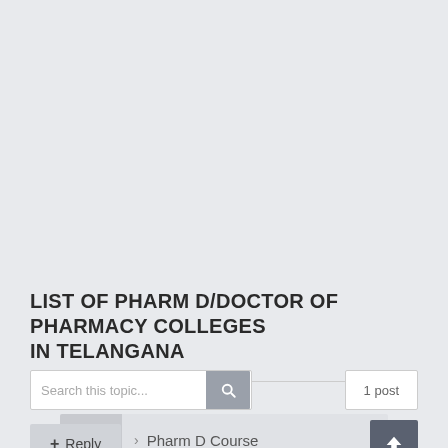Home > Pharm D Course
LIST OF PHARM D/DOCTOR OF PHARMACY COLLEGES IN TELANGANA
Search this topic...  1 post
+ Reply